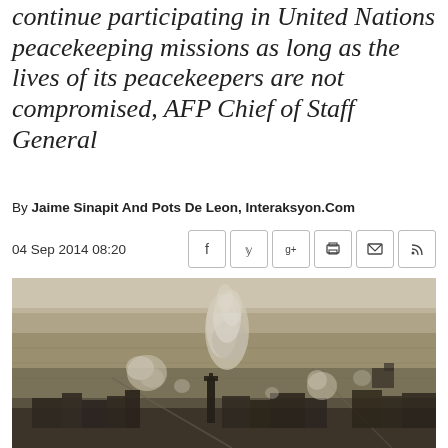continue participating in United Nations peacekeeping missions as long as the lives of its peacekeepers are not compromised, AFP Chief of Staff General
By Jaime Sinapit And Pots De Leon, Interaksyon.Com
04 Sep 2014 08:20
[Figure (photo): Aerial or distant view of a conflict zone showing smoke plumes rising from buildings and structures across a flat, arid landscape. Dust clouds are visible rising above what appears to be a town or settlement, with fields and roads visible in the background.]